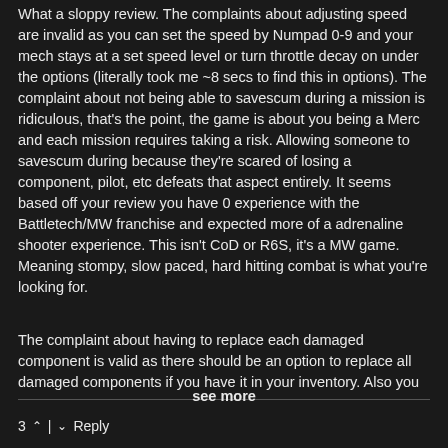What a sloppy review. The complaints about adjusting speed are invalid as you can set the speed by Numpad 0-9 and your mech stays at a set speed level or turn throttle decay on under the options (literally took me ~8 secs to find this in options). The complaint about not being able to savescum during a mission is ridiculous, that's the point, the game is about you being a Merc and each mission requires taking a risk. Allowing someone to savescum during because they're scared of losing a component, pilot, etc defeats that aspect entirely. It seems based off your review you have 0 experience with the Battletech/MW franchise and expected more of a adrenaline shooter experience. This isn't CoD or R6S, it's a MW game. Meaning stompy, slow paced, hard hitting combat is what you're looking for.
The complaint about having to replace each damaged component is valid as there should be an option to replace all damaged components if you have it in your inventory. Also you
see more
3 ^ | v Reply